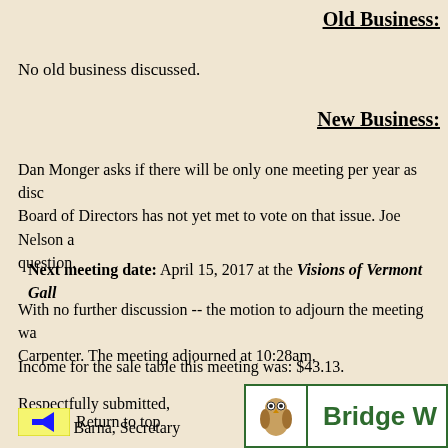Old Business:
No old business discussed.
New Business:
Dan Monger asks if there will be only one meeting per year as discussed. Board of Directors has not yet met to vote on that issue. Joe Nelson answers the question.
Next meeting date: April 15, 2017 at the Visions of Vermont Gallery
With no further discussion -- the motion to adjourn the meeting was made by Carpenter. The meeting adjourned at 10:28am.
Income for the sale table this meeting was: $43.13.
Respectfully submitted,
Irene R. Barna, Secretary
* * *
Return to top
[Figure (logo): Bridge W... organization logo with an owl illustration on the left and green text on the right]